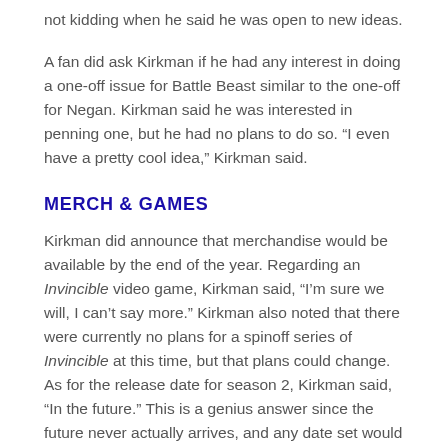not kidding when he said he was open to new ideas.
A fan did ask Kirkman if he had any interest in doing a one-off issue for Battle Beast similar to the one-off for Negan. Kirkman said he was interested in penning one, but he had no plans to do so. “I even have a pretty cool idea,” Kirkman said.
MERCH & GAMES
Kirkman did announce that merchandise would be available by the end of the year. Regarding an Invincible video game, Kirkman said, “I’m sure we will, I can’t say more.” Kirkman also noted that there were currently no plans for a spinoff series of Invincible at this time, but that plans could change. As for the release date for season 2, Kirkman said, “In the future.” This is a genius answer since the future never actually arrives, and any date set would essentially be an early release. Well played.